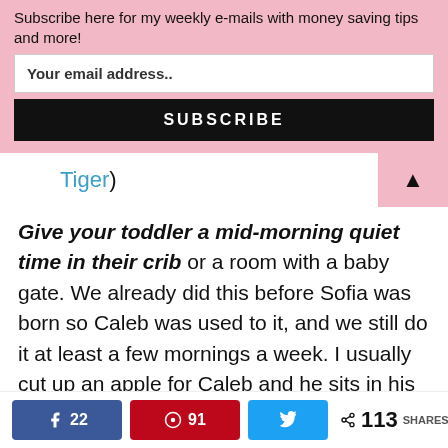Subscribe here for my weekly e-mails with money saving tips and more!
Your email address..
SUBSCRIBE
Tiger)
Give your toddler a mid-morning quiet time in their crib or a room with a baby gate. We already did this before Sofia was born so Caleb was used to it, and we still do it at least a few mornings a week. I usually cut up an apple for Caleb and he sits in his crib, eats, and looks at his books. Having a little mid-morning breather can be so
22  91  113 SHARES